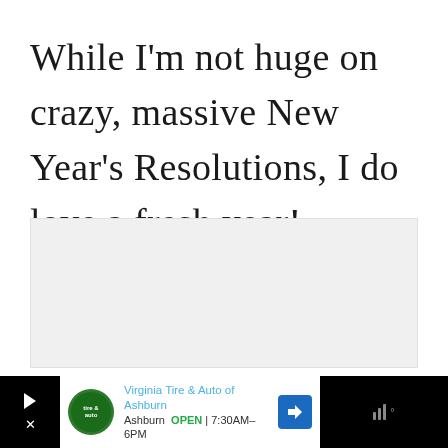While I'm not huge on crazy, massive New Year's Resolutions, I do love a fresh year!
[Figure (screenshot): Advertisement bar at bottom: Virginia Tire & Auto of Ashburn ad with green logo, blue title text, location 'Ashburn', green 'OPEN' label, hours '7:30AM-6PM', navigation arrow icon. Black bars on left and right with playback and sound controls.]